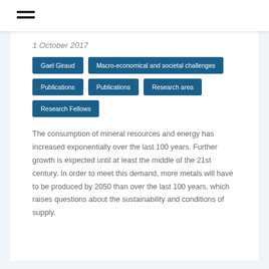1 October 2017
Gael Giraud
Macro-economical and societal challenges
Publications
Publications
Research area
Research Fellows
The consumption of mineral resources and energy has increased exponentially over the last 100 years. Further growth is expected until at least the middle of the 21st century. In order to meet this demand, more metals will have to be produced by 2050 than over the last 100 years, which raises questions about the sustainability and conditions of supply.